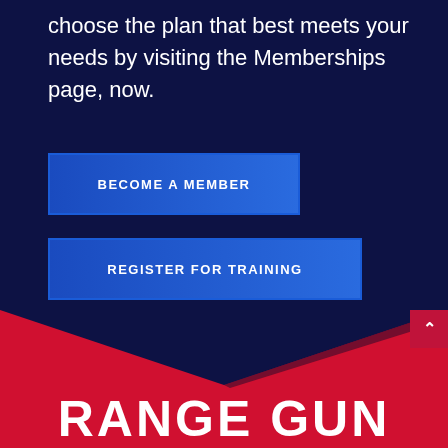choose the plan that best meets your needs by visiting the Memberships page, now.
BECOME A MEMBER
REGISTER FOR TRAINING
[Figure (illustration): Red chevron/arrow pointing downward on a dark navy background, transitioning to a red section below with large white text 'RANGE GUN' partially visible at the bottom.]
RANGE GUN